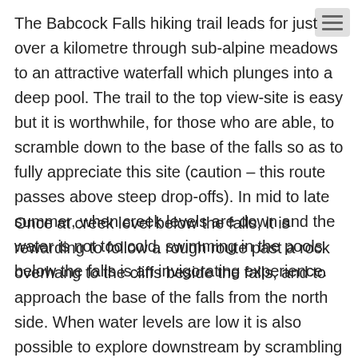The Babcock Falls hiking trail leads for just over a kilometre through sub-alpine meadows to an attractive waterfall which plunges into a deep pool. The trail to the top view-site is easy but it is worthwhile, for those who are able, to scramble down to the base of the falls so as to fully appreciate this site (caution – this route passes above steep drop-offs). In mid to late summer, when creek levels are down and the water is not too cold, swimming in the pools below the falls is an invigorating experience.
Once at creek level below the falls, it is rewarding to follow a rough route past a rock overhang to the cliffs beside the falls, and to approach the base of the falls from the north side. When water levels are low it is also possible to explore downstream by scrambling down the huge blocks that have fallen down from the cliffs above, and which create smaller falls, pools and grottos.